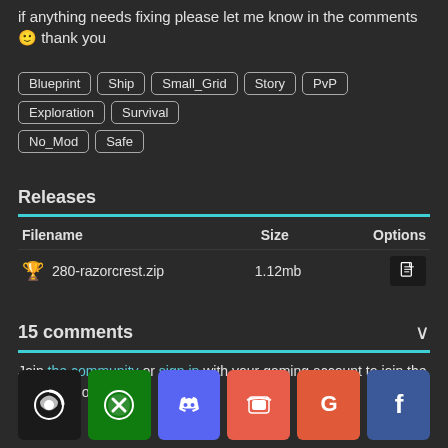if anything needs fixing please let me know in the comments 🙂 thank you
Blueprint, Ship, Small_Grid, Story, PvP, Exploration, Survival, No_Mod, Safe
Releases
| Filename | Size | Options |
| --- | --- | --- |
| 🏆 280-razorcrest.zip | 1.12mb | [icon] |
15 comments
Join the community or sign in with your gaming account to join the conversation:
[Figure (other): Social login buttons: Steam, Xbox, Discord, itch.io, Google, Facebook]